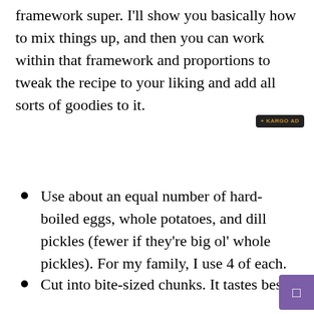framework super. I'll show you basically how to mix things up, and then you can work within that framework and proportions to tweak the recipe to your liking and add all sorts of goodies to it.
Use about an equal number of hard-boiled eggs, whole potatoes, and dill pickles (fewer if they're big ol' whole pickles). For my family, I use 4 of each.
Cut into bite-sized chunks. It tastes best without potato skins, but nutrition is best with them. Sometimes I'm too lazy to peel them!
Mix with homemade mayo and mustard. For the 4 potato-4 egg salad, I use about Tbs or two of mayo and just a bit less than that of mustard. Add salt and pepper to